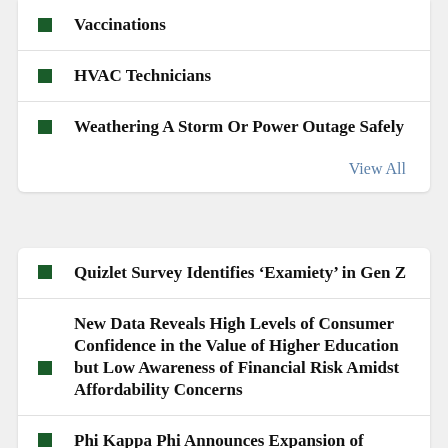Vaccinations
HVAC Technicians
Weathering A Storm Or Power Outage Safely
View All
Quizlet Survey Identifies ‘Examiety’ in Gen Z
New Data Reveals High Levels of Consumer Confidence in the Value of Higher Education but Low Awareness of Financial Risk Amidst Affordability Concerns
Phi Kappa Phi Announces Expansion of Award Programs